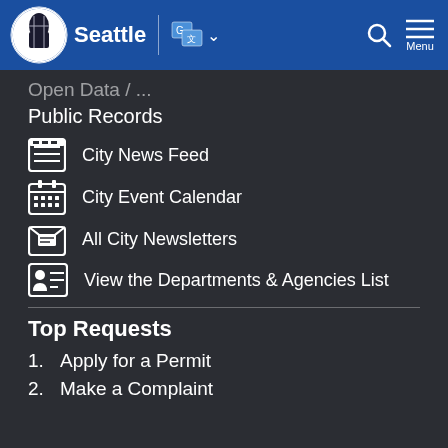Seattle
Open Data (partial, cut off)
Public Records
City News Feed
City Event Calendar
All City Newsletters
View the Departments & Agencies List
Top Requests
1. Apply for a Permit
2. Make a Complaint